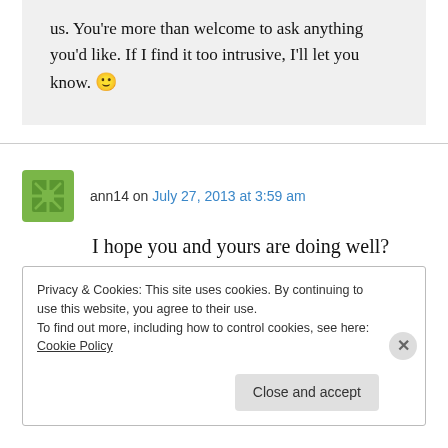us. You're more than welcome to ask anything you'd like. If I find it too intrusive, I'll let you know. 🙂
ann14 on July 27, 2013 at 3:59 am
I hope you and yours are doing well?
↳ Reply
Privacy & Cookies: This site uses cookies. By continuing to use this website, you agree to their use.
To find out more, including how to control cookies, see here: Cookie Policy
Close and accept